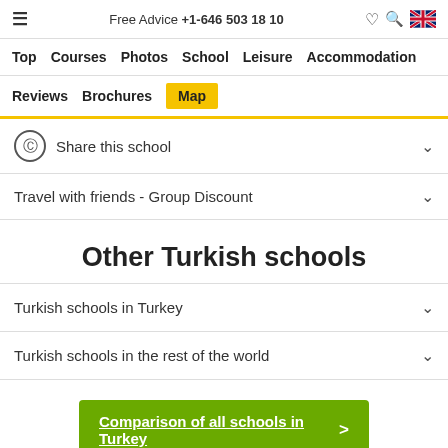Free Advice +1-646 503 18 10
Top  Courses  Photos  School  Leisure  Accommodation
Reviews  Brochures  Map
Share this school
Travel with friends - Group Discount
Other Turkish schools
Turkish schools in Turkey
Turkish schools in the rest of the world
Comparison of all schools in Turkey >